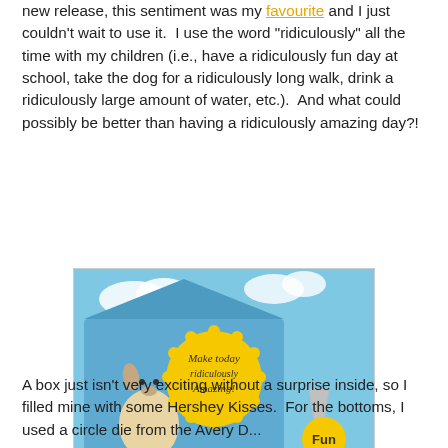new release, this sentiment was my favourite and I just couldn't wait to use it.  I use the word "ridiculously" all the time with my children (i.e., have a ridiculously fun day at school, take the dog for a ridiculously long walk, drink a ridiculously large amount of water, etc.).  And what could possibly be better than having a ridiculously amazing day?!
[Figure (photo): A craft project photo showing a decorative blue box with a yellow scalloped tag reading 'Make today ridiculously Amazing!' and a yellow circle sticker reading 'Fun' next to a Hershey's Kiss. Website watermark: www.smallbitsofpaper.blogspot.com]
A box just isn't very exciting without a surprise inside, so I filled mine with some Hershey Kisses.  For the bottoms, I used a circle die from the Avery D...